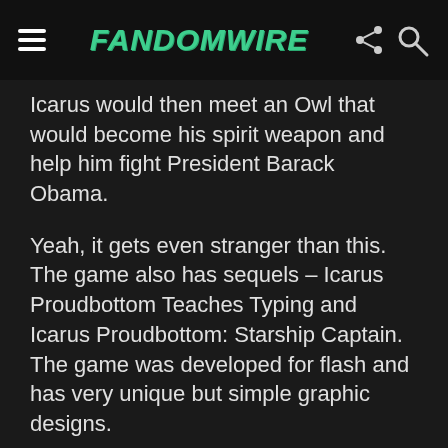FandomWire
Icarus would then meet an Owl that would become his spirit weapon and help him fight President Barack Obama.
Yeah, it gets even stranger than this. The game also has sequels – Icarus Proudbottom Teaches Typing and Icarus Proudbottom: Starship Captain. The game was developed for flash and has very unique but simple graphic designs.
No More Heroes